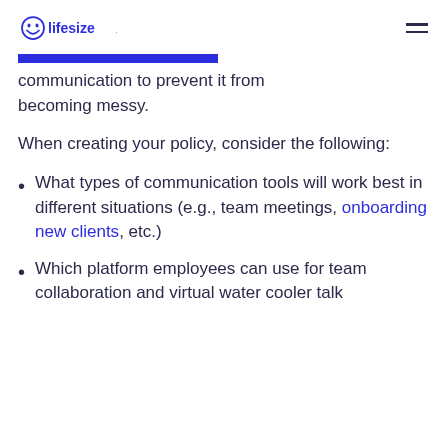lifesize
communication to prevent it from becoming messy.
When creating your policy, consider the following:
What types of communication tools will work best in different situations (e.g., team meetings, onboarding new clients, etc.)
Which platform employees can use for team collaboration and virtual water cooler talk